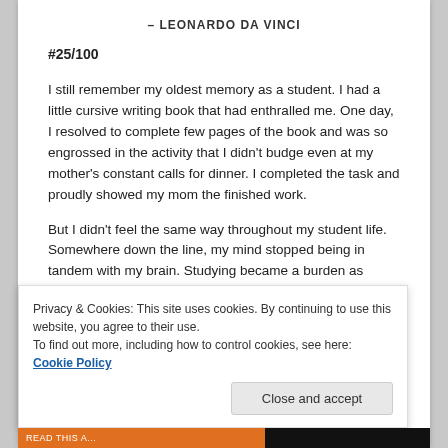– LEONARDO DA VINCI
#25/100
I still remember my oldest memory as a student. I had a little cursive writing book that had enthralled me. One day, I resolved to complete few pages of the book and was so engrossed in the activity that I didn't budge even at my mother's constant calls for dinner. I completed the task and proudly showed my mom the finished work.
But I didn't feel the same way throughout my student life. Somewhere down the line, my mind stopped being in tandem with my brain. Studying became a burden as getting good grades was a requirement instead of an
Privacy & Cookies: This site uses cookies. By continuing to use this website, you agree to their use.
To find out more, including how to control cookies, see here: Cookie Policy